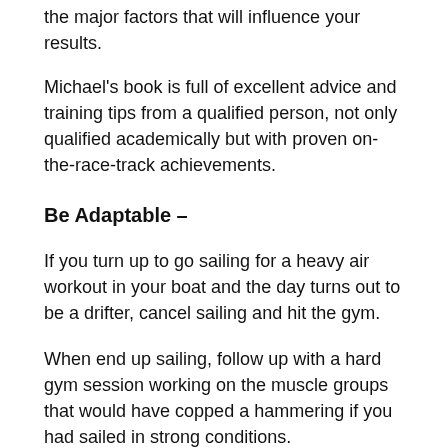the major factors that will influence your results.
Michael's book is full of excellent advice and training tips from a qualified person, not only qualified academically but with proven on-the-race-track achievements.
Be Adaptable –
If you turn up to go sailing for a heavy air workout in your boat and the day turns out to be a drifter, cancel sailing and hit the gym.
When end up sailing, follow up with a hard gym session working on the muscle groups that would have copped a hammering if you had sailed in strong conditions.
If you have scheduled a gym session and you turn up in not-so-good condition such as lingering fatigue then you might